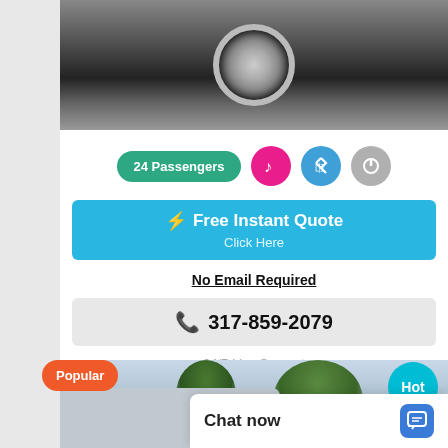[Figure (photo): Close-up photo of a truck/bus wheel and bumper area on pavement]
24 Passengers
[Figure (illustration): Music note icon circle (pink), Bluetooth icon circle (blue), Power plug icon circle (gray)]
⚡ Free Instant Quote
Click Here
No Email Required
317-859-2079
24/7 Live Support
Popular
Hot
[Figure (photo): Photo of a white van/bus with trees in background]
Chat now